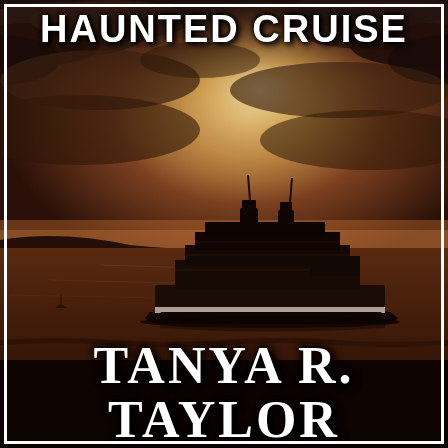[Figure (illustration): Book cover background: dramatic dark reddish-brown seascape at dusk/sunset with moody cloudy sky. A large cruise ship is silhouetted in the center-right of the image against a glowing horizon. The water is dark and the overall palette is deep amber, brown, and maroon.]
HAUNTED CRUISE
TANYA R. TAYLOR